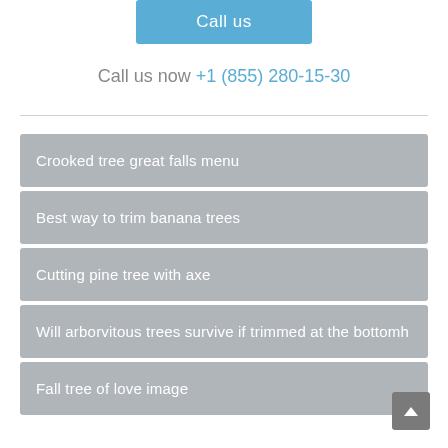Call us
Call us now +1 (855) 280-15-30
Crooked tree great falls menu
Best way to trim banana trees
Cutting pine tree with axe
Will arborvitous trees survive if trimmed at the bottomh
Fall tree of love image